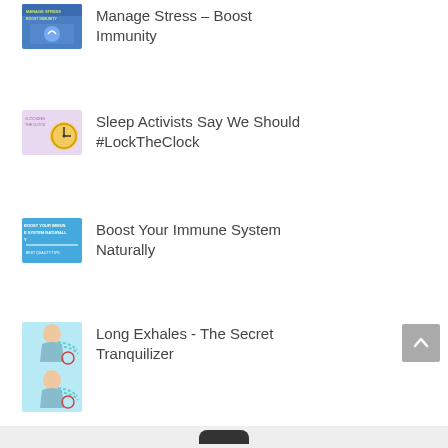Manage Stress – Boost Immunity
Sleep Activists Say We Should #LockTheClock
Boost Your Immune System Naturally
Long Exhales - The Secret Tranquilizer